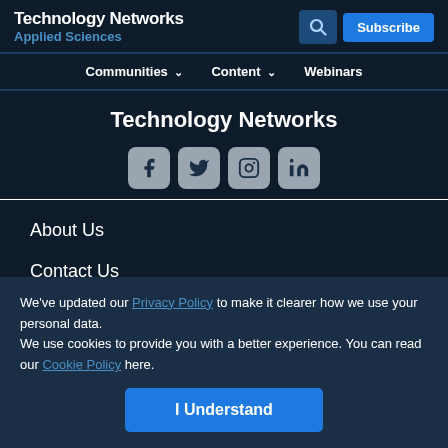Technology Networks Applied Sciences
Communities Content Webinars
Technology Networks
[Figure (other): Social media icons for Facebook, Twitter, Instagram, LinkedIn]
About Us
Contact Us
Scientific Content Creation
We've updated our Privacy Policy to make it clearer how we use your personal data.
We use cookies to provide you with a better experience. You can read our Cookie Policy here.
I Understand